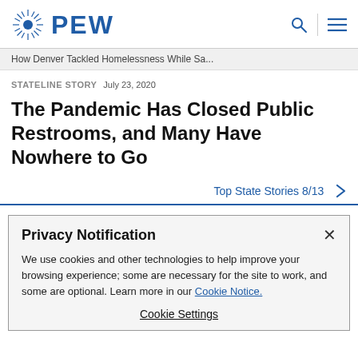PEW
How Denver Tackled Homelessness While Sa...
STATELINE STORY   July 23, 2020
The Pandemic Has Closed Public Restrooms, and Many Have Nowhere to Go
Top State Stories 8/13 >
Privacy Notification
We use cookies and other technologies to help improve your browsing experience; some are necessary for the site to work, and some are optional. Learn more in our Cookie Notice.
Cookie Settings